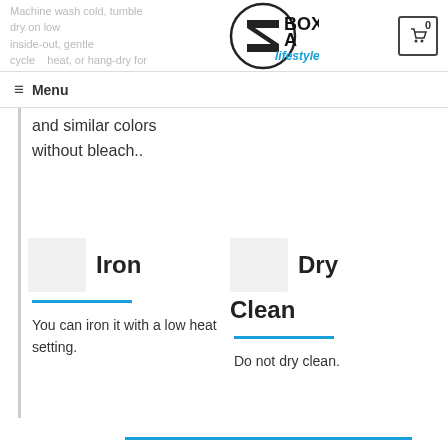Machine wash cold, tumble dry on low heat, or hang-dry for inside-out, gentle cycle
[Figure (logo): BOXA Lifestyle logo - circle with stylized B icon and script lifestyle text]
and similar colors without bleach..
Iron
You can iron it with a low heat setting.
Dry Clean
Do not dry clean.